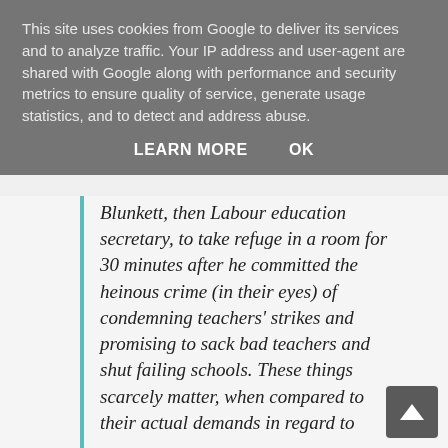This site uses cookies from Google to deliver its services and to analyze traffic. Your IP address and user-agent are shared with Google along with performance and security metrics to ensure quality of service, generate usage statistics, and to detect and address abuse.
LEARN MORE   OK
Blunkett, then Labour education secretary, to take refuge in a room for 30 minutes after he committed the heinous crime (in their eyes) of condemning teachers' strikes and promising to sack bad teachers and shut failing schools. These things scarcely matter, when compared to their actual demands in regard to